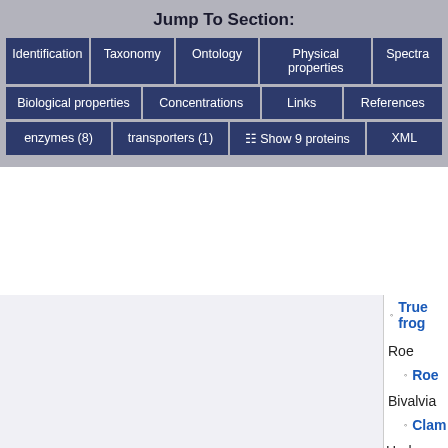Jump To Section:
Identification
Taxonomy
Ontology
Physical properties
Spectra
Biological properties
Concentrations
Links
References
enzymes (8)
transporters (1)
Show 9 proteins
XML
True frog
Roe
Roe
Bivalvia
Clam
Herbs and spices
Herbs
Lovage
Mexican c
German c
Lemon ba
Mentha